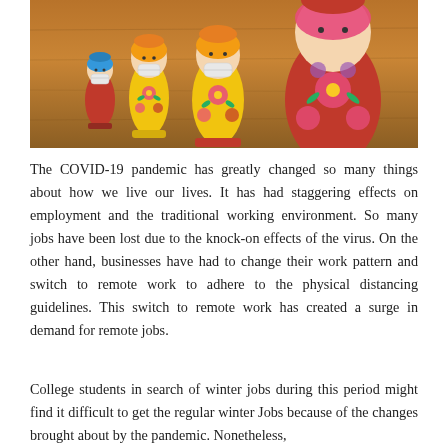[Figure (photo): Photograph of Russian matryoshka nesting dolls of various sizes wearing face masks, arranged on a wooden surface. The dolls are colorfully painted with floral designs in yellow, red, and green.]
The COVID-19 pandemic has greatly changed so many things about how we live our lives. It has had staggering effects on employment and the traditional working environment. So many jobs have been lost due to the knock-on effects of the virus. On the other hand, businesses have had to change their work pattern and switch to remote work to adhere to the physical distancing guidelines. This switch to remote work has created a surge in demand for remote jobs.
College students in search of winter jobs during this period might find it difficult to get the regular winter Jobs because of the changes brought about by the pandemic. Nonetheless,